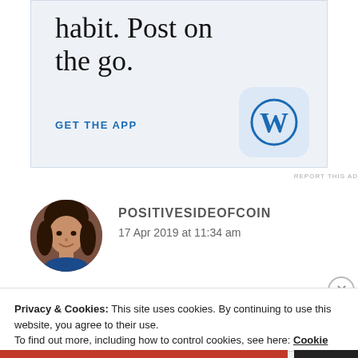[Figure (screenshot): WordPress app advertisement banner with light blue background showing partial text 'habit. Post on the go.' with a 'GET THE APP' CTA link and WordPress W logo icon]
REPORT THIS AD
[Figure (photo): Circular avatar photo of a woman with dark hair, smiling, wearing blue]
POSITIVESIDEOFCOIN
17 Apr 2019 at 11:34 am
Privacy & Cookies: This site uses cookies. By continuing to use this website, you agree to their use.
To find out more, including how to control cookies, see here: Cookie Policy
Close and accept